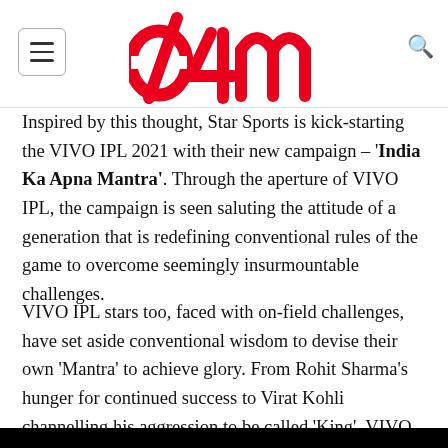e4m
Inspired by this thought, Star Sports is kick-starting the VIVO IPL 2021 with their new campaign – 'India Ka Apna Mantra'. Through the aperture of VIVO IPL, the campaign is seen saluting the attitude of a generation that is redefining conventional rules of the game to overcome seemingly insurmountable challenges.
VIVO IPL stars too, faced with on-field challenges, have set aside conventional wisdom to devise their own 'Mantra' to achieve glory. From Rohit Sharma's hunger for continued success to Virat Kohli channelling his aggression to be called 'King', VIVO IPL has spawned many such mantras.
[Figure (other): Black bar at bottom of page]